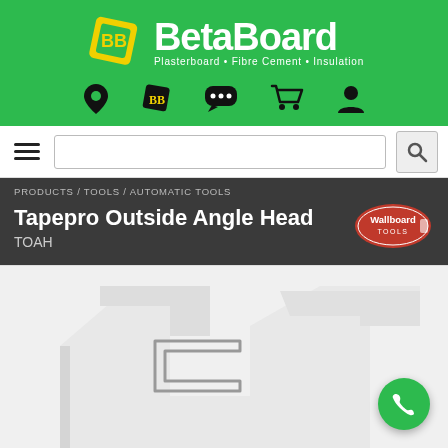[Figure (logo): BetaBoard logo with green diamond BB emblem and white BetaBoard text. Tagline: Plasterboard • Fibre Cement • Insulation]
[Figure (infographic): Navigation icon row with location pin, BB icon, chat bubbles, shopping cart, and user account icons]
[Figure (screenshot): Search bar with hamburger menu on left and search magnifying glass button on right]
PRODUCTS / TOOLS / AUTOMATIC TOOLS
Tapepro Outside Angle Head
TOAH
[Figure (logo): Wallboard Tools oval red logo badge]
[Figure (photo): Product photo of a white plastic Tapepro Outside Angle Head tool on white background]